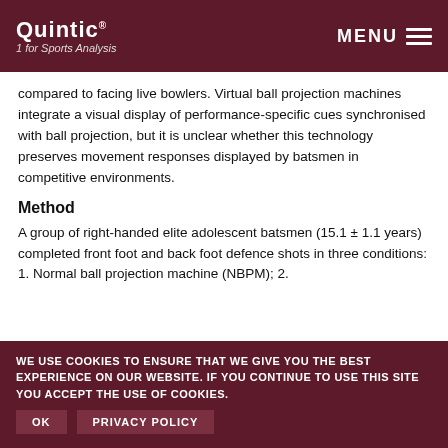Quintic — 1 for Sports Analysis | MENU
compared to facing live bowlers. Virtual ball projection machines integrate a visual display of performance-specific cues synchronised with ball projection, but it is unclear whether this technology preserves movement responses displayed by batsmen in competitive environments.
Method
A group of right-handed elite adolescent batsmen (15.1 ± 1.1 years) completed front foot and back foot defence shots in three conditions: 1. Normal ball projection machine (NBPM); 2.
WE USE COOKIES TO ENSURE THAT WE GIVE YOU THE BEST EXPERIENCE ON OUR WEBSITE. IF YOU CONTINUE TO USE THIS SITE YOU ACCEPT THE USE OF COOKIES.